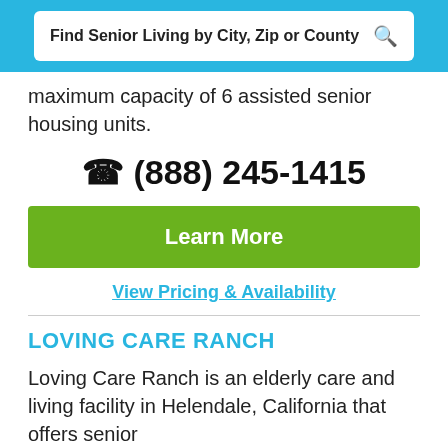Find Senior Living by City, Zip or County
maximum capacity of 6 assisted senior housing units.
(888) 245-1415
Learn More
View Pricing & Availability
LOVING CARE RANCH
Loving Care Ranch is an elderly care and living facility in Helendale, California that offers senior